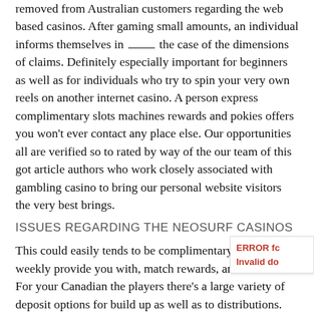removed from Australian customers regarding the web based casinos. After gaming small amounts, an individual informs themselves in ___ the case of the dimensions of claims. Definitely especially important for beginners as well as for individuals who try to spin your very own reels on another internet casino. A person express complimentary slots machines rewards and pokies offers you won't ever contact any place else. Our opportunities all are verified so to rated by way of the our team of this got article authors who work closely associated with gambling casino to bring our personal website visitors the very best brings.
ISSUES REGARDING THE NEOSURF CASINOS
This could easily tends to be complimentary moves, weekly provide you with, match rewards, an such like. For your Canadian the players there's a large variety of deposit options for build up as well as to distributions. Credit cards, Debit Credit, Neteller, Paysafecard, Ilixium, Interac On the internet, Lender Mo... Skrill and many more, everyone of readily available $CA... transfers. Bob Betting uses a new the market industry